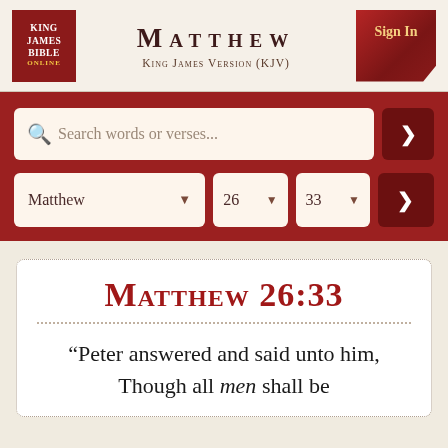[Figure (logo): King James Bible Online logo - red box with white text]
Matthew — King James Version (KJV)
[Figure (screenshot): Sign In button, dark red ribbon style]
Search words or verses...
Matthew  26  33
Matthew 26:33
“Peter answered and said unto him, Though all men shall be